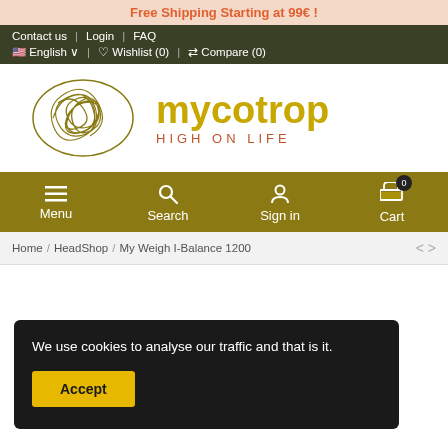Free Shipping Starting at 99€ !
Contact us | Login | FAQ | English | Wishlist (0) | Compare (0)
[Figure (logo): Mycotrop logo with tangled lines graphic and text 'mycotrop HIGH ON LIFE']
Menu | Search | Sign in | Cart (0)
Home / HeadShop / My Weigh I-Balance 1200
We use cookies to analyse our traffic and that is it.
Accept